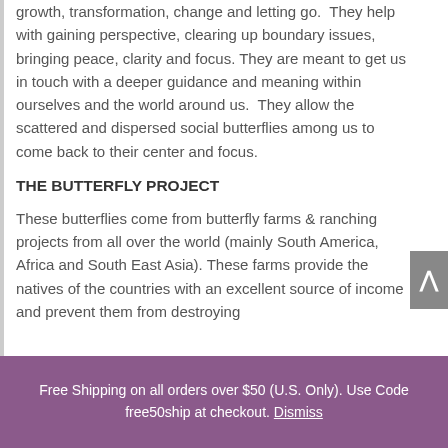growth, transformation, change and letting go.  They help with gaining perspective, clearing up boundary issues, bringing peace, clarity and focus. They are meant to get us in touch with a deeper guidance and meaning within ourselves and the world around us.  They allow the scattered and dispersed social butterflies among us to come back to their center and focus.
THE BUTTERFLY PROJECT
These butterflies come from butterfly farms & ranching projects from all over the world (mainly South America, Africa and South East Asia). These farms provide the natives of the countries with an excellent source of income and prevent them from destroying
Free Shipping on all orders over $50 (U.S. Only). Use Code free50ship at checkout. Dismiss